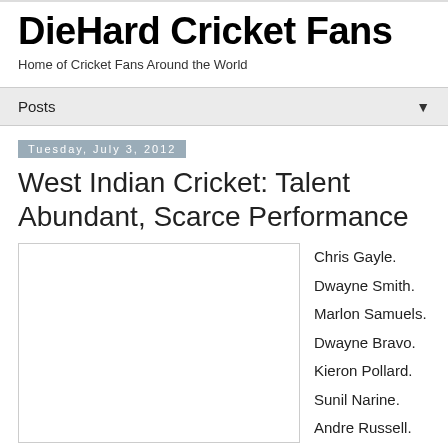DieHard Cricket Fans
Home of Cricket Fans Around the World
Posts ▼
Tuesday, July 3, 2012
West Indian Cricket: Talent Abundant, Scarce Performance
[Figure (other): Empty white image box with border]
Chris Gayle.
Dwayne Smith.
Marlon Samuels.
Dwayne Bravo.
Kieron Pollard.
Sunil Narine.
Andre Russell.